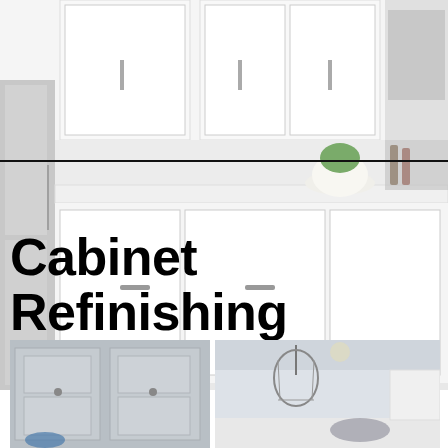[Figure (photo): Bright white modern kitchen with white shaker cabinets, stainless steel appliances, marble backsplash, green plant in bowl on counter, and wine bottles]
Cabinet Refinishing Denver
[Figure (photo): Two kitchen photos side by side: left shows gray raised-panel cabinet doors close up; right shows kitchen with pendant chandelier lights over island]